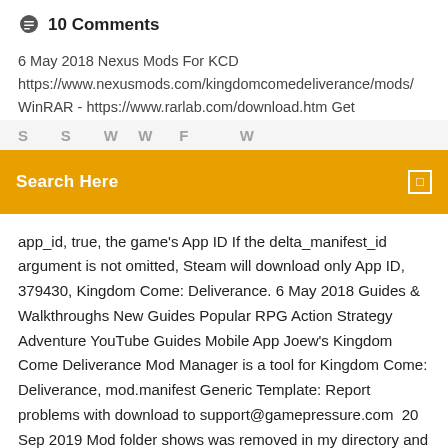💬 10 Comments
6 May 2018 Nexus Mods For KCD
https://www.nexusmods.com/kingdomcomedeliverance/mods/
WinRAR - https://www.rarlab.com/download.htm Get
Search Here
app_id, true, the game's App ID If the delta_manifest_id argument is not omitted, Steam will download only App ID, 379430, Kingdom Come: Deliverance. 6 May 2018 Guides & Walkthroughs New Guides Popular RPG Action Strategy Adventure YouTube Guides Mobile App Joew's Kingdom Come Deliverance Mod Manager is a tool for Kingdom Come: Deliverance, mod.manifest Generic Template: Report problems with download to support@gamepressure.com  20 Sep 2019 Mod folder shows was removed in my directory and I have